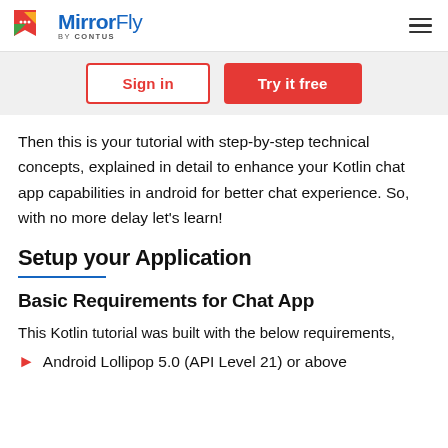MirrorFly by CONTUS
Sign in | Try it free
Then this is your tutorial with step-by-step technical concepts, explained in detail to enhance your Kotlin chat app capabilities in android for better chat experience. So, with no more delay let's learn!
Setup your Application
Basic Requirements for Chat App
This Kotlin tutorial was built with the below requirements,
Android Lollipop 5.0 (API Level 21) or above